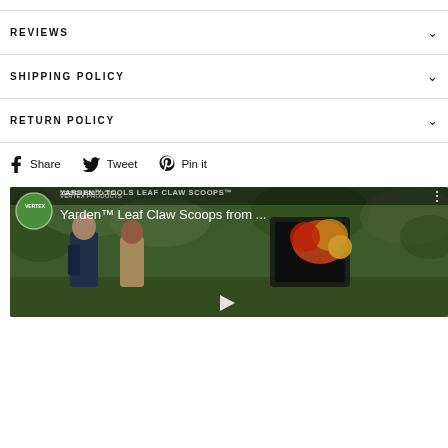REVIEWS
SHIPPING POLICY
RETURN POLICY
Share  Tweet  Pin it
[Figure (screenshot): YouTube video thumbnail showing two people outdoors holding leaf claw scoops, with product name 'Yarden™ Leaf Claw Scoops from ...' and Vertex Products logo]